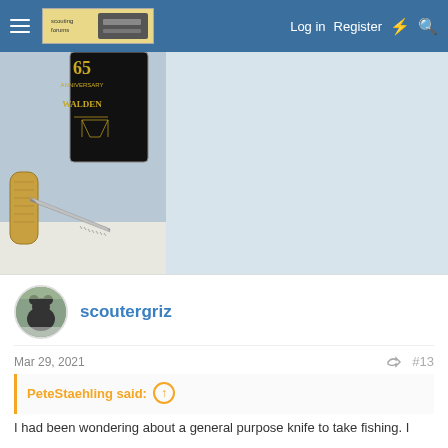Log in   Register
[Figure (photo): Close-up photo of a folding pocket knife with a bone handle partially open, and a black anniversary edition Walden knife tin/box visible in the background, on a light blue-gray surface.]
scoutergriz
Mar 29, 2021   #13
PeteStaehling said:
I had been wondering about a general purpose knife to take fishing. I